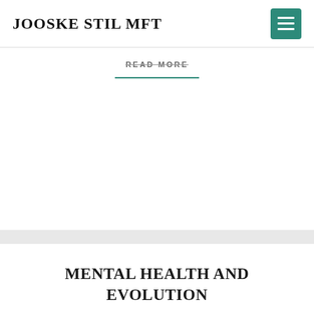JOOSKE STIL MFT
READ MORE
MENTAL HEALTH AND EVOLUTION
November 7, 2017
It is helpful to consider the original evolutionary purpose of a condition, in order to understand it and to treat it. There are 4 classes of mental disorders. The first is the